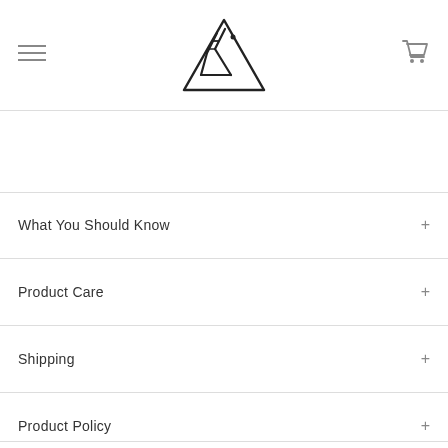[Figure (logo): Chemistry/science logo: a triangle with a flask/beaker inside it, rendered as line art in dark color]
What You Should Know
Product Care
Shipping
Product Policy